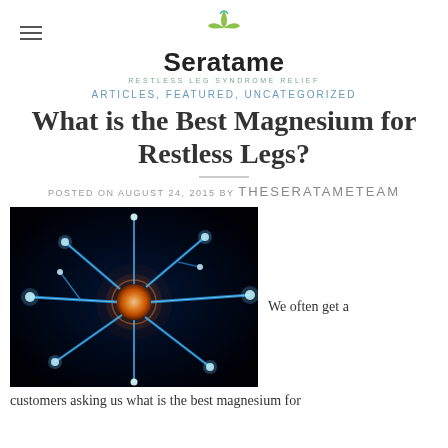Seratame — RESTLESS LEG SYNDROME RELIEF
ARTICLES, FEATURED, UNCATEGORIZED
What is the Best Magnesium for Restless Legs?
POSTED ON AUGUST 24, 2015 BY THESERATAMETEAM
[Figure (photo): Close-up illustration of a neuron with glowing blue dendrites and an orange-lit cell body against a black background.]
We often get a customers asking us what is the best magnesium for